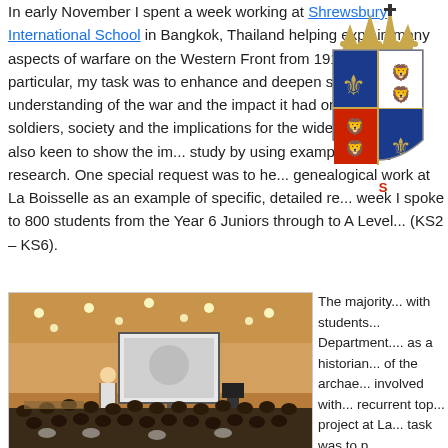In early November I spent a week working at Shrewsbury International School in Bangkok, Thailand helping explain many aspects of warfare on the Western Front from 1914-1918. In particular, my task was to enhance and deepen students understanding of the war and the impact it had on individual soldiers, society and the implications for the wider world. I was also keen to show the im... study by using examples of my research. One special request was to he... genealogical work at La Boisselle as an example of specific, detailed re... week I spoke to 800 students from the Year 6 Juniors through to A Level... (KS2 – KS6).
[Figure (photo): Lecture hall scene with a presenter standing at a podium in front of a large projection screen showing an image, with rows of students seated facing the presentation.]
The majority... with students... Department.... as a historian... of the archae... involved with... recurrent top... project at La... task was to p...